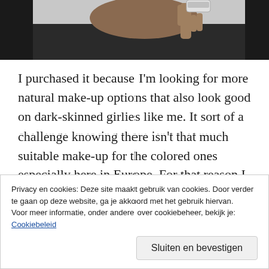[Figure (photo): A person holding a small cosmetic or beauty product (appears to be a mascara or similar tube) up close to the camera, wearing a dark top, with a light background.]
I purchased it because I'm looking for more natural make-up options that also look good on dark-skinned girlies like me. It sort of a challenge knowing there isn't that much suitable make-up for the colored ones especially here in Europe. For that reason I still have make-up that is not plant based, organic or natural. Still I look at ingredients.
Privacy en cookies: Deze site maakt gebruik van cookies. Door verder te gaan op deze website, ga je akkoord met het gebruik hiervan.
Voor meer informatie, onder andere over cookiebeheer, bekijk je: Cookiebeleid
Sluiten en bevestigen